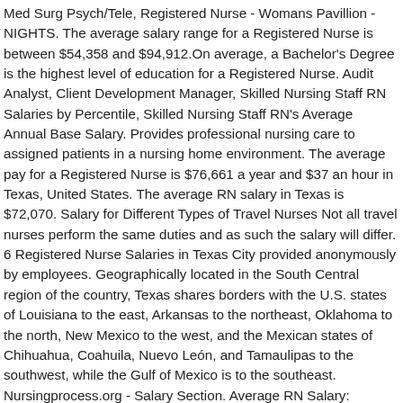Med Surg Psych/Tele, Registered Nurse - Womans Pavillion - NIGHTS. The average salary range for a Registered Nurse is between $54,358 and $94,912.On average, a Bachelor's Degree is the highest level of education for a Registered Nurse. Audit Analyst, Client Development Manager, Skilled Nursing Staff RN Salaries by Percentile, Skilled Nursing Staff RN's Average Annual Base Salary. Provides professional nursing care to assigned patients in a nursing home environment. The average pay for a Registered Nurse is $76,661 a year and $37 an hour in Texas, United States. The average RN salary in Texas is $72,070. Salary for Different Types of Travel Nurses Not all travel nurses perform the same duties and as such the salary will differ. 6 Registered Nurse Salaries in Texas City provided anonymously by employees. Geographically located in the South Central region of the country, Texas shares borders with the U.S. states of Louisiana to the east, Arkansas to the northeast, Oklahoma to the north, New Mexico to the west, and the Mexican states of Chihuahua, Coahuila, Nuevo León, and Tamaulipas to the southwest, while the Gulf of Mexico is to the southeast. Nursingprocess.org - Salary Section. Average RN Salary: $94,820. As of Oct 17, 2020, the average annual pay for a Registered Nurse in Texas is $62,319 a year. Nurse RN Salaries in Texas Salary estimated from 24,247 employees, users, and past and present job advertisements on Indeed in the past 36 months. With advancements in technology and the expanding responsibilities, being a nurse in 2020 is vastly different than being a nurse in 2000. Salaries